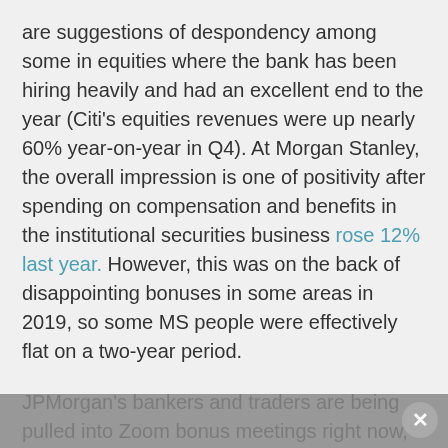are suggestions of despondency among some in equities where the bank has been hiring heavily and had an excellent end to the year (Citi's equities revenues were up nearly 60% year-on-year in Q4). At Morgan Stanley, the overall impression is one of positivity after spending on compensation and benefits in the institutional securities business rose 12% last year. However, this was on the back of disappointing bonuses in some areas in 2019, so some MS people were effectively flat on a two-year period.
JPMorgan's bankers and traders are being pulled into Zoom bonus meetings right now, but early reports from the JPM front office are positive. - Bonuses are said to be up in double-digit percentage terms for the bank's fixed income traders, which is welcome as salaries are frozen on last year for everyone at vice president level and above. However, people at JPMorgan are expecting to be far less happy in functions like technology, where the chatter internally has been that bonuses will be flat at